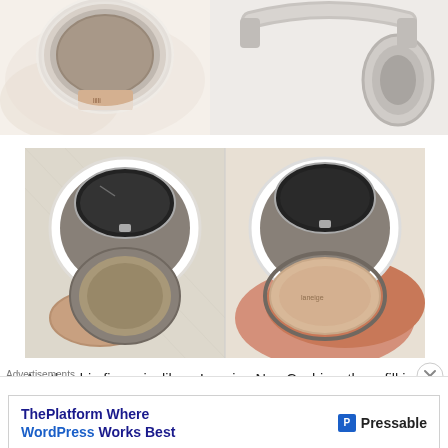[Figure (photo): Two cropped product photos at top: left shows a beige/cream makeup cushion compact detail on a white fluffy surface; right shows part of over-ear headphones in silver/gray on white background.]
[Figure (photo): Two side-by-side photos of an open cushion compact (Laneige or similar brand) showing the white circular case with mirror open, a brown/beige cushion puff on the left photo, and a hand holding the refill with beige puff on the right photo.]
Another big figure is, like a Laneige Neo Cushion, the refill is 'Twist & Lock' (One-touch Spinning Method) so can easily replace a refill and also the left hand can use
Advertisements
[Figure (other): Advertisement banner: 'ThePlatform Where WordPress Works Best' with Pressable logo on the right.]